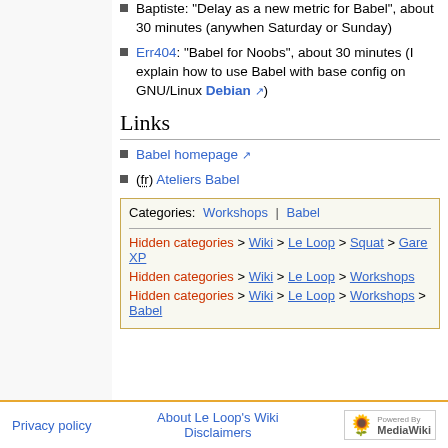Baptiste: "Delay as a new metric for Babel", about 30 minutes (anywhen Saturday or Sunday)
Err404: "Babel for Noobs", about 30 minutes (I explain how to use Babel with base config on GNU/Linux Debian)
Links
Babel homepage
(fr) Ateliers Babel
| Categories: Workshops | Babel |
| Hidden categories > Wiki > Le Loop > Squat > Gare XP |
| Hidden categories > Wiki > Le Loop > Workshops |
| Hidden categories > Wiki > Le Loop > Workshops > Babel |
Privacy policy   About Le Loop's Wiki   Disclaimers   Powered by MediaWiki